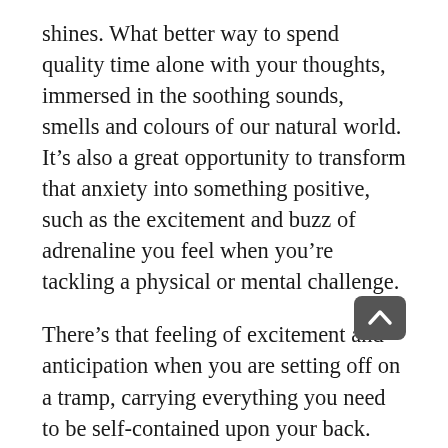shines. What better way to spend quality time alone with your thoughts, immersed in the soothing sounds, smells and colours of our natural world. It's also a great opportunity to transform that anxiety into something positive, such as the excitement and buzz of adrenaline you feel when you're tackling a physical or mental challenge.
There's that feeling of excitement and anticipation when you are setting off on a tramp, carrying everything you need to be self-contained upon your back. The way your heart races when you're scrambling up high, every muscle awake, your body strong and alert as you place each foot in front of the other, one step forward and next to...